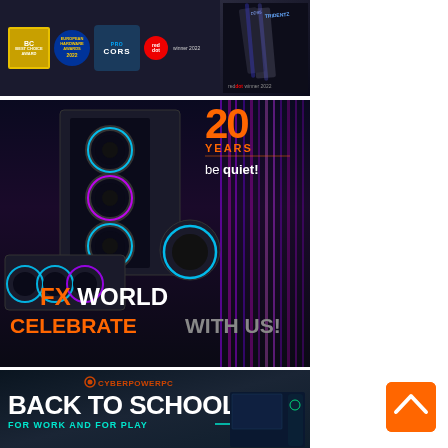[Figure (advertisement): BC Award, European Awards 2022, CORS PRO badge, Red Dot winner 2022 badges alongside a dark RAM/GPU product (RTX Z5 Plus) on dark background]
[Figure (advertisement): be quiet! 20 Years FX WORLD celebration ad. PC case with RGB fans and cooler products displayed. Text: FX WORLD, CELEBRATE WITH US! Orange and grey on dark background]
[Figure (advertisement): CyberPowerPC Back to School For Work and For Play advertisement showing a gaming PC setup on dark blue/teal background]